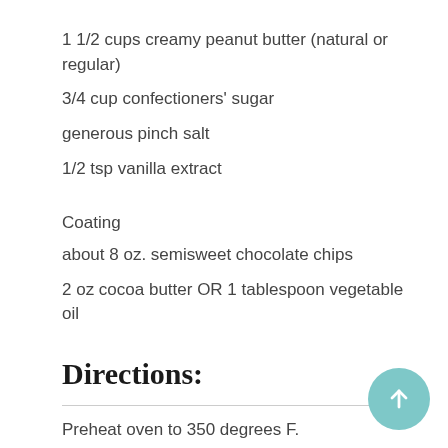1 1/2 cups creamy peanut butter (natural or regular)
3/4 cup confectioners' sugar
generous pinch salt
1/2 tsp vanilla extract
Coating
about 8 oz. semisweet chocolate chips
2 oz cocoa butter OR 1 tablespoon vegetable oil
Directions:
Preheat oven to 350 degrees F.
In a large mixing bowl, cream together butter